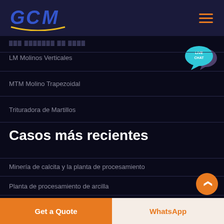[Figure (logo): GCM logo with stylized letters and golden arc underline on dark navy background]
(partially visible faded URL/text)
LM Molinos Verticales
MTM Molino Trapezoidal
Trituradora de Martillos
Casos más recientes
Minería de calcita y la planta de procesamiento
Planta de procesamiento de arcilla
Planta de procesamiento de dolomita
[Figure (illustration): Live Chat speech bubble icon with teal/blue color]
Get a Quote
WhatsApp